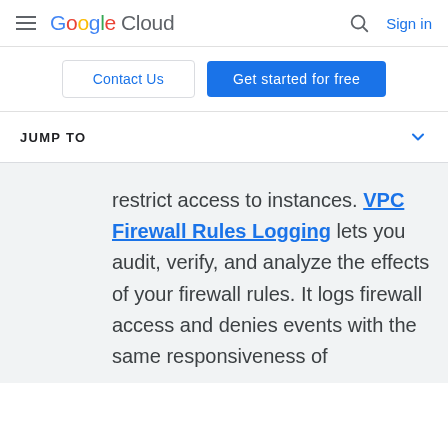Google Cloud — Sign in
Contact Us | Get started for free
JUMP TO
restrict access to instances. VPC Firewall Rules Logging lets you audit, verify, and analyze the effects of your firewall rules. It logs firewall access and denies events with the same responsiveness of